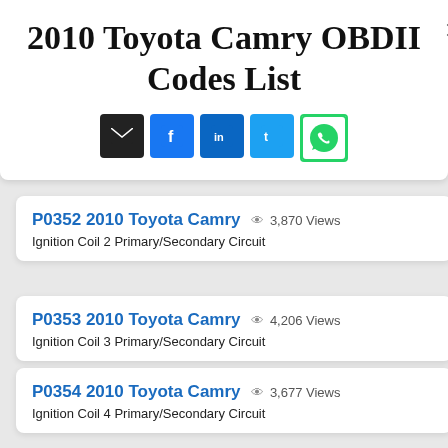2010 Toyota Camry OBDII Codes List
[Figure (other): Social sharing icons: email, Facebook, LinkedIn, Twitter, WhatsApp]
P0352 2010 Toyota Camry  3,870 Views — Ignition Coil 2 Primary/Secondary Circuit
P0353 2010 Toyota Camry  4,206 Views — Ignition Coil 3 Primary/Secondary Circuit
P0354 2010 Toyota Camry  3,677 Views — Ignition Coil 4 Primary/Secondary Circuit